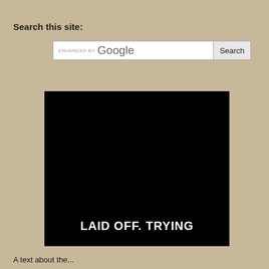Search this site:
[Figure (screenshot): Google enhanced search bar with Search button]
[Figure (photo): Black image with white bold text reading 'LAID OFF. TRYING']
A text about the...